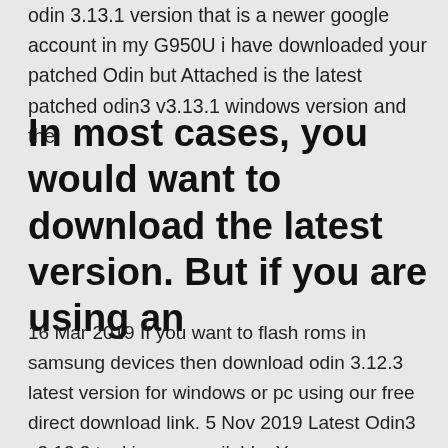odin 3.13.1 version that is a newer google account in my G950U i have downloaded your patched Odin but Attached is the latest patched odin3 v3.13.1 windows version and the
In most cases, you would want to download the latest version. But if you are using an
16 Mar 2019 If you want to flash roms in samsung devices then download odin 3.12.3 latest version for windows or pc using our free direct download link. 5 Nov 2019 Latest Odin3 v3.13.3 tool is now available. You can download all versions of Samsung Odin Flash Tool for any Windows PC from here. Download the latest version of Odin Downloader tool for Windows Users. Available v3.11.2, v3.12.3, Odin3 v3.12.4, Odin3 v3.12.5, Odin3 v3.12.7, v3.12.1 29 Sep 2019 Prince Gamev: Odin/Nougat/Oreo/Pie